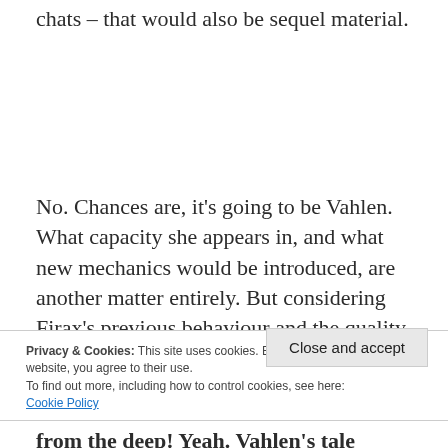chats – that would also be sequel material.
No. Chances are, it's going to be Vahlen. What capacity she appears in, and what new mechanics would be introduced, are another matter entirely. But considering Firax's previous behaviour and the quality of (most) of the work they've put out in this series, it's probably going to be a goodie either way.
Privacy & Cookies: This site uses cookies. By continuing to use this website, you agree to their use.
To find out more, including how to control cookies, see here:
Cookie Policy
Close and accept
from the deep! Yeah. Vahlen's tale might